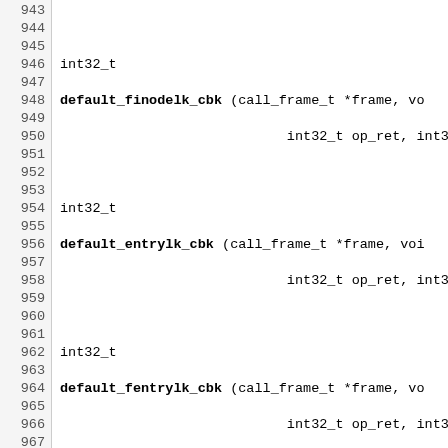[Figure (screenshot): Source code listing showing C function declarations with line numbers 943-972. Functions include default_finodelk_cbk, default_entrylk_cbk, default_fentrylk_cbk, default_rchecksum_cbk, default_readdir_cbk, default_readdirp_cbk, each returning int32_t and taking call_frame_t and other parameters.]